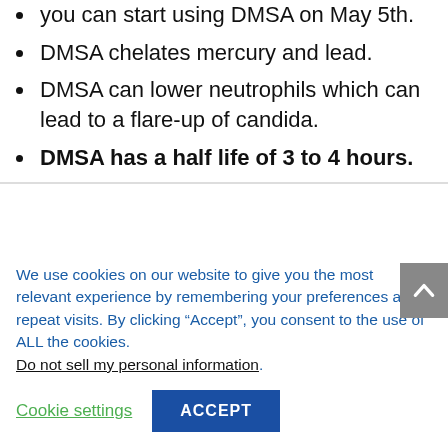you can start using DMSA on May 5th.
DMSA chelates mercury and lead.
DMSA can lower neutrophils which can lead to a flare-up of candida.
DMSA has a half life of 3 to 4 hours.
We use cookies on our website to give you the most relevant experience by remembering your preferences and repeat visits. By clicking “Accept”, you consent to the use of ALL the cookies.
Do not sell my personal information.
Cookie settings  ACCEPT